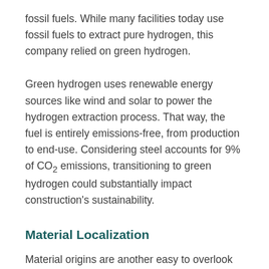fossil fuels. While many facilities today use fossil fuels to extract pure hydrogen, this company relied on green hydrogen.
Green hydrogen uses renewable energy sources like wind and solar to power the hydrogen extraction process. That way, the fuel is entirely emissions-free, from production to end-use. Considering steel accounts for 9% of CO₂ emissions, transitioning to green hydrogen could substantially impact construction's sustainability.
Material Localization
Material origins are another easy to overlook factor